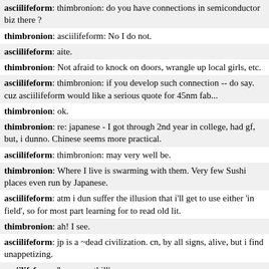asciilifeform: thimbronion: do you have connections in semiconductor biz there ?
thimbronion: asciilifeform: No I do not.
asciilifeform: aite.
thimbronion: Not afraid to knock on doors, wrangle up local girls, etc.
asciilifeform: thimbronion: if you develop such connection -- do say. cuz asciilifeform would like a serious quote for 45nm fab...
thimbronion: ok.
thimbronion: re: japanese - I got through 2nd year in college, had gf, but, i dunno. Chinese seems more practical.
asciilifeform: thimbronion: may very well be.
thimbronion: Where I live is swarming with them. Very few Sushi places even run by Japanese.
asciilifeform: atm i dun suffer the illusion that i'll get to use either 'in field', so for most part learning for to read old lit.
thimbronion: ah! I see.
asciilifeform: jp is a ~dead civilization. cn, by all signs, alive, but i find unappetizing.
asciilifeform: 'human anthill'
thimbronion: They will not deny it.
thimbronion: They have the ability to somehow be rich and yet not gentrify the neighborhoods they take over.
asciilifeform: cuz sending the dough back home.
thimbronion: hm yes true